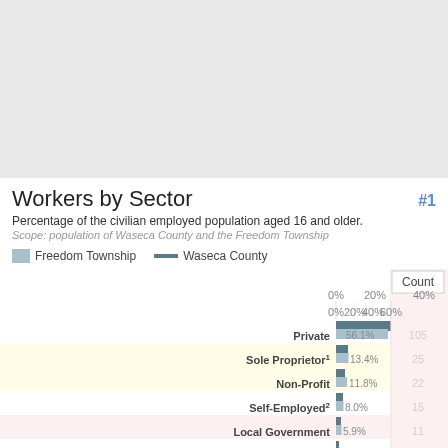Workers by Sector #1
Percentage of the civilian employed population aged 16 and older.
Scope: population of Waseca County and the Freedom Township
[Figure (bar-chart): Workers by Sector]